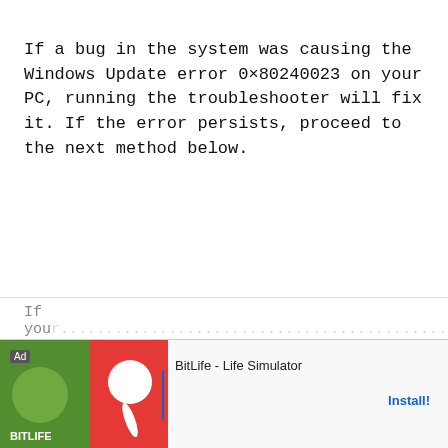If a bug in the system was causing the Windows Update error 0×80240023 on your PC, running the troubleshooter will fix it. If the error persists, proceed to the next method below.
3. Download the Validation Tool.
If you... n on your P... lling...
[Figure (other): Advertisement banner for BitLife - Life Simulator app with green and red background imagery and an Install button]